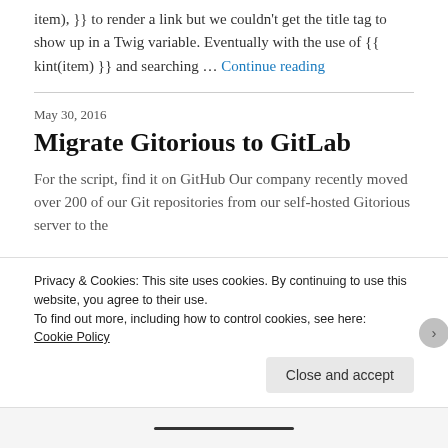item), }} to render a link but we couldn't get the title tag to show up in a Twig variable. Eventually with the use of {{ kint(item) }} and searching … Continue reading
May 30, 2016
Migrate Gitorious to GitLab
For the script, find it on GitHub Our company recently moved over 200 of our Git repositories from our self-hosted Gitorious server to the
Privacy & Cookies: This site uses cookies. By continuing to use this website, you agree to their use.
To find out more, including how to control cookies, see here: Cookie Policy
Close and accept